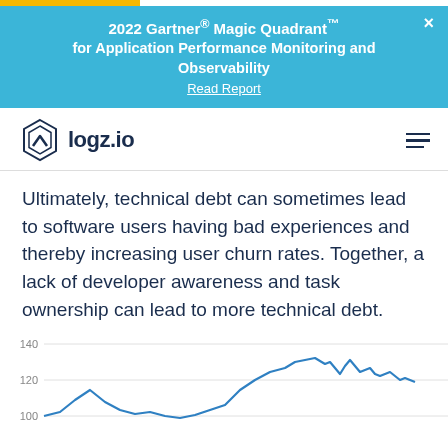2022 Gartner® Magic Quadrant™ for Application Performance Monitoring and Observability
Read Report
[Figure (logo): logz.io company logo with hexagon icon]
Ultimately, technical debt can sometimes lead to software users having bad experiences and thereby increasing user churn rates. Together, a lack of developer awareness and task ownership can lead to more technical debt.
[Figure (continuous-plot): Line chart showing an upward trend with values around 100-140, y-axis labels: 100, 120, 140]